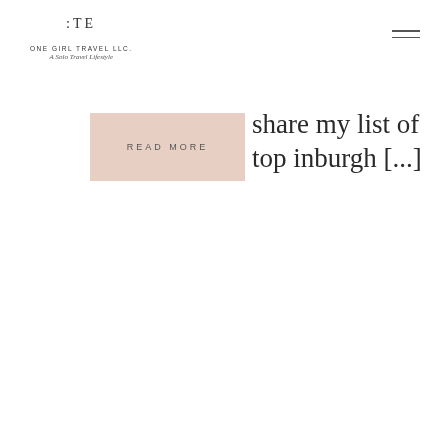[Figure (logo): One Girl Travel LLC logo with stylized initials and tagline 'A Solo Travel Lifestyle']
[Figure (other): Hamburger menu icon with two horizontal lines]
READ MORE
share my list of top inburgh [...]